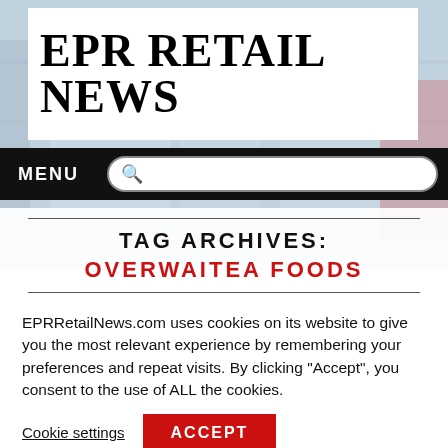[Figure (screenshot): Website header background with blurred retail interior]
EPR RETAIL NEWS
MENU
TAG ARCHIVES:
OVERWAITEA FOODS
EPRRetailNews.com uses cookies on its website to give you the most relevant experience by remembering your preferences and repeat visits. By clicking “Accept”, you consent to the use of ALL the cookies.
Cookie settings
ACCEPT